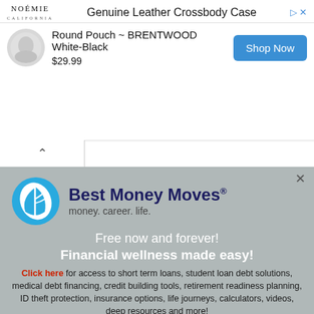[Figure (screenshot): Ad banner for NOÉMIE California — Genuine Leather Crossbody Case, Round Pouch BRENTWOOD White-Black, $29.99, Shop Now button]
[Figure (logo): Best Money Moves logo — blue circle with white leaf, text: Best Money Moves® money. career. life.]
Free now and forever!
Financial wellness made easy!
Click here for access to short term loans, student loan debt solutions, medical debt financing, credit building tools, retirement readiness planning, ID theft protection, insurance options, life journeys, calculators, videos, deep resources and more!
USE THIS CODE: THINKGLINK100